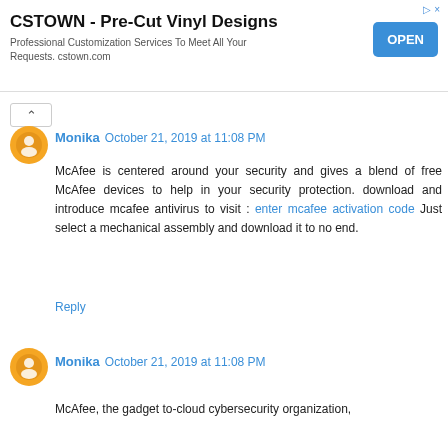[Figure (other): Advertisement banner for CSTOWN - Pre-Cut Vinyl Designs with OPEN button]
Monika  October 21, 2019 at 11:08 PM
McAfee is centered around your security and gives a blend of free McAfee devices to help in your security protection. download and introduce mcafee antivirus to visit : enter mcafee activation code Just select a mechanical assembly and download it to no end.
Reply
Monika  October 21, 2019 at 11:08 PM
McAfee, the gadget to-cloud cybersecurity organization,